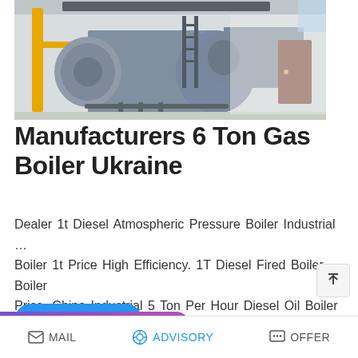[Figure (photo): Industrial gas boiler equipment inside a factory building — two large cylindrical horizontal boiler tanks in grey/blue, with yellow structural supports, ladders, piping, and a red door visible in the background.]
Manufacturers 6 Ton Gas Boiler Ukraine
Dealer 1t Diesel Atmospheric Pressure Boiler Industrial … Boiler 1t Price High Efficiency. 1T Diesel Fired Boiler Boiler Price. China Industrial 5 Ton Per Hour Diesel Oil Boiler Price Steam Boiler Water Boiler Gas Boiler manufactur…
READ MORE
Save Stickers on WhatsApp
MAIL   ADVISORY   OFFER